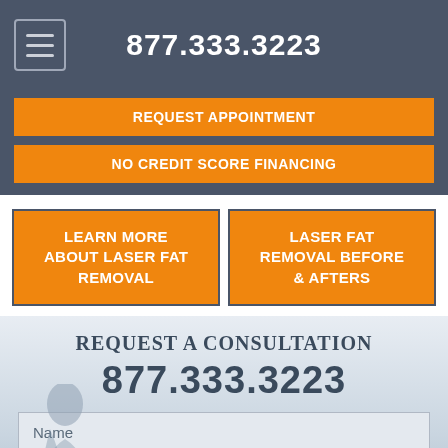877.333.3223
REQUEST APPOINTMENT
NO CREDIT SCORE FINANCING
LEARN MORE ABOUT LASER FAT REMOVAL
LASER FAT REMOVAL BEFORE & AFTERS
REQUEST A CONSULTATION
877.333.3223
Name
Enter Email